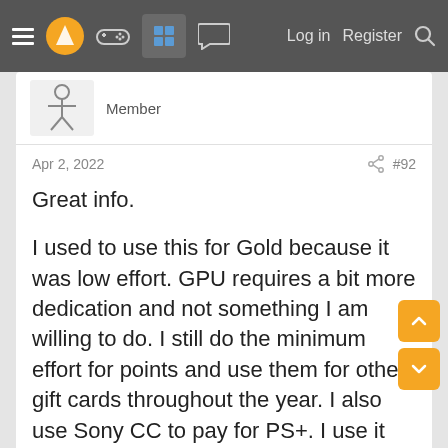≡ [logo] [controller icon] [grid icon] [chat icon]   Log in   Register   [search]
Member
Apr 2, 2022   #92
Great info.

I used to use this for Gold because it was low effort. GPU requires a bit more dedication and not something I am willing to do. I still do the minimum effort for points and use them for other gift cards throughout the year. I also use Sony CC to pay for PS+. I use it for my purchases/bills and pay it off every payday. I can typically pay for PS+ each year and buy one or two games with those points. Again, minimum effort on my end.
RPS37
Member